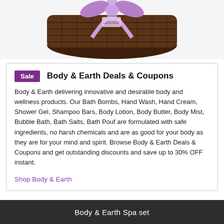[Figure (photo): A dark brown wicker/woven gift basket with a purple ribbon and bow on top, partially cropped at the top of the page.]
Sale  Body & Earth Deals & Coupons
Body & Earth delivering innovative and desirable body and wellness products. Our Bath Bombs, Hand Wash, Hand Cream, Shower Gel, Shampoo Bars, Body Lotion, Body Butter, Body Mist, Bubble Bath, Bath Salts, Bath Pouf are formulated with safe ingredients, no harsh chemicals and are as good for your body as they are for your mind and spirit. Browse Body & Earth Deals & Coupons and get outstanding discounts and save up to 30% OFF instant.
Shop Body & Earth
Body & Earth Spa set